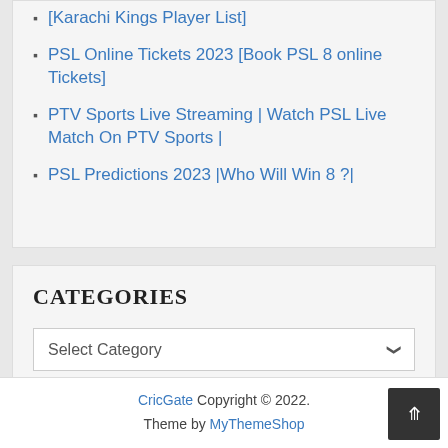[Karachi Kings Player List]
PSL Online Tickets 2023 [Book PSL 8 online Tickets]
PTV Sports Live Streaming | Watch PSL Live Match On PTV Sports |
PSL Predictions 2023 |Who Will Win 8 ?|
CATEGORIES
Select Category
CricGate Copyright © 2022. Theme by MyThemeShop